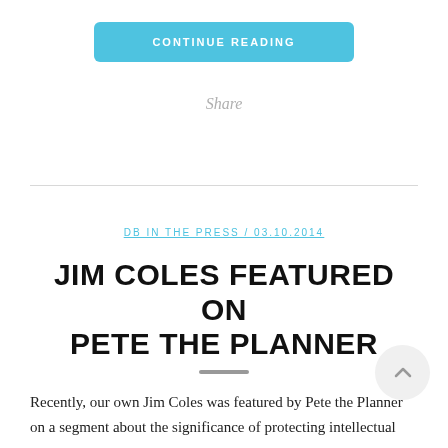CONTINUE READING
Share
DB IN THE PRESS / 03.10.2014
JIM COLES FEATURED ON PETE THE PLANNER
Recently, our own Jim Coles was featured by Pete the Planner on a segment about the significance of protecting intellectual property.